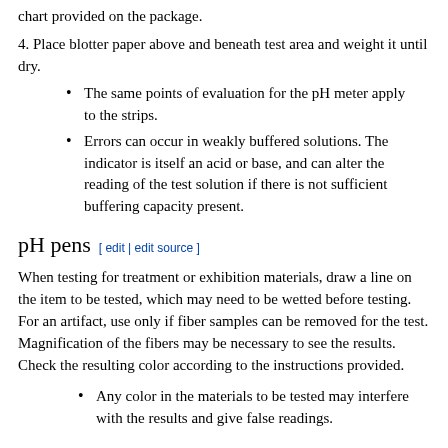chart provided on the package.
4. Place blotter paper above and beneath test area and weight it until dry.
The same points of evaluation for the pH meter apply to the strips.
Errors can occur in weakly buffered solutions. The indicator is itself an acid or base, and can alter the reading of the test solution if there is not sufficient buffering capacity present.
pH pens
When testing for treatment or exhibition materials, draw a line on the item to be tested, which may need to be wetted before testing. For an artifact, use only if fiber samples can be removed for the test. Magnification of the fibers may be necessary to see the results. Check the resulting color according to the instructions provided.
Any color in the materials to be tested may interfere with the results and give false readings.